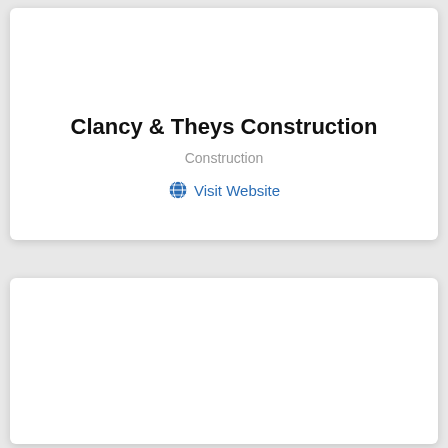Clancy & Theys Construction
Construction
Visit Website